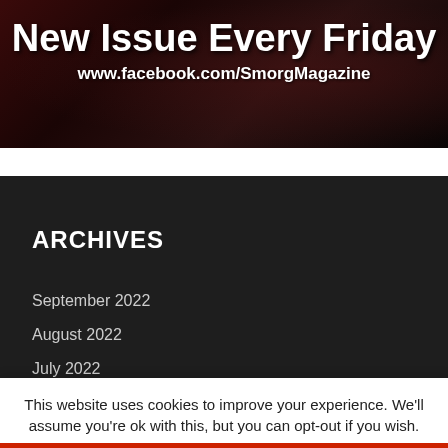[Figure (illustration): Dark banner advertisement for Smorg Magazine with text 'New Issue Every Friday' and URL 'www.facebook.com/SmorgMagazine' on a dark red/brown background]
ARCHIVES
September 2022
August 2022
July 2022
This website uses cookies to improve your experience. We'll assume you're ok with this, but you can opt-out if you wish.
Cookie settings   ACCEPT